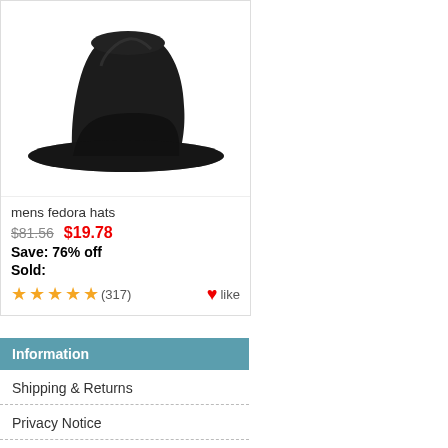[Figure (photo): A black fedora hat photographed from the front on a white background]
mens fedora hats
$81.56  $19.78
Save: 76% off
Sold:
★★★★★ (317)  ❤like
Information
Shipping & Returns
Privacy Notice
F.A.Q
Contact Us
Site Map